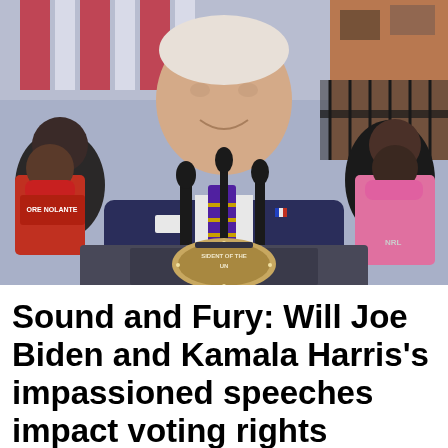[Figure (photo): Photo of President Joe Biden speaking at a podium with the Presidential seal, at an outdoor event. He is wearing a dark navy suit with a purple and gold striped tie. Behind him are supporters, including a person in a red shirt and mask on the left, and a person in a pink hoodie and pink mask on the right. Red and white striped banners are visible in the background.]
Sound and Fury: Will Joe Biden and Kamala Harris's impassioned speeches impact voting rights results?